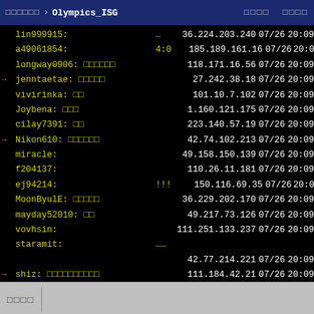□□□□□□ > Olympics_ISG □□□□ □□□□
lin999915:     ...     36.224.203.240  07/26  20:09
a49061854:     4:0     185.189.161.16  07/26  20:09
longway0906:  □□□□□□   118.171.16.56   07/26  20:09
→ jenntaetae: □□□□□    27.242.38.18    07/26  20:09
vivirinka:  □□          101.10.7.102   07/26  20:09
Joybena:  □□□           1.160.121.175  07/26  20:09
cilay7391:  □□          223.140.57.19  07/26  20:09
→ Nikon610: □□□□□□      42.74.102.213  07/26  20:09
miracle:                49.158.150.139 07/26  20:09
f204137:                110.26.11.181  07/26  20:09
ej94214:     !!!        150.116.69.35  07/26  20:09
MoonByulE: □□□□□       36.229.202.170  07/26  20:09
mayday52010: □□         49.217.73.126  07/26  20:09
vovhsin:               111.251.133.237 07/26  20:09
staramit:              ......
42.77.214.221  07/26  20:09
→ shiz: □□□□□□□□□□     111.184.42.21  07/26  20:09
SAKO:                   114.36.0.141   07/26  20:10
□□□□